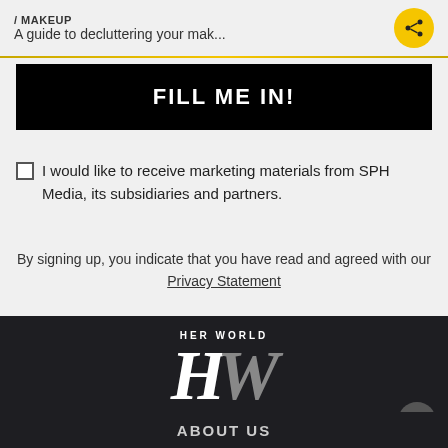/ MAKEUP
A guide to decluttering your mak...
FILL ME IN!
I would like to receive marketing materials from SPH Media, its subsidiaries and partners.
By signing up, you indicate that you have read and agreed with our Privacy Statement
[Figure (logo): Her World HW logo in white and grey on dark background]
ABOUT US